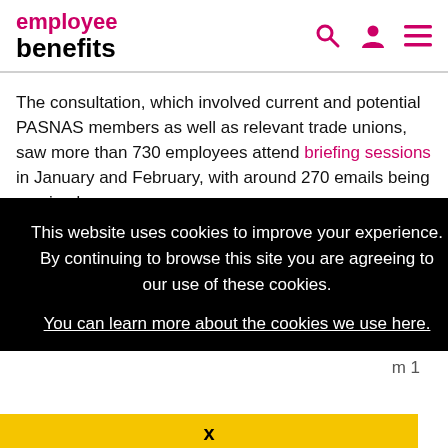employee benefits
The consultation, which involved current and potential PASNAS members as well as relevant trade unions, saw more than 730 employees attend briefing sessions in January and February, with around 270 emails being received.
This website uses cookies to improve your experience. By continuing to browse this site you are agreeing to our use of these cookies.
You can learn more about the cookies we use here.
X